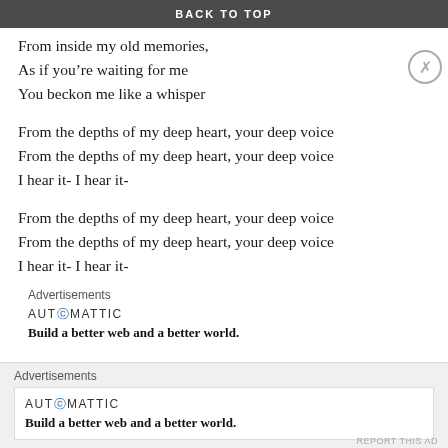BACK TO TOP
From inside my old memories,
As if you’re waiting for me
You beckon me like a whisper
From the depths of my deep heart, your deep voice
From the depths of my deep heart, your deep voice
I hear it- I hear it-
From the depths of my deep heart, your deep voice
From the depths of my deep heart, your deep voice
I hear it- I hear it-
Advertisements
AUTⓄMATTIC
Build a better web and a better world.
Advertisements
AUTⓄMATTIC
Build a better web and a better world.